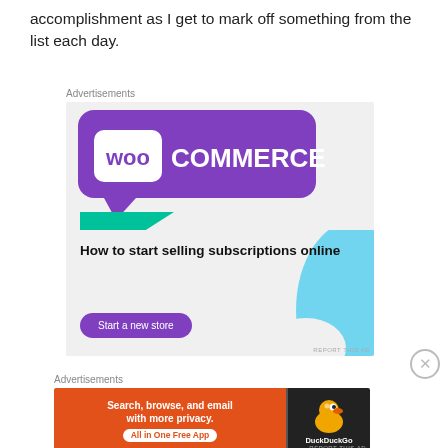accomplishment as I get to mark off something from the list each day.
[Figure (screenshot): WooCommerce advertisement: purple banner with WooCommerce logo, teal triangle, light blue circle shape, text 'How to start selling subscriptions online', purple button 'Start a new store', on light gray background]
[Figure (screenshot): DuckDuckGo advertisement: orange left panel with text 'Search, browse, and email with more privacy. All in One Free App', dark right panel with DuckDuckGo duck logo and 'DuckDuckGo' text]